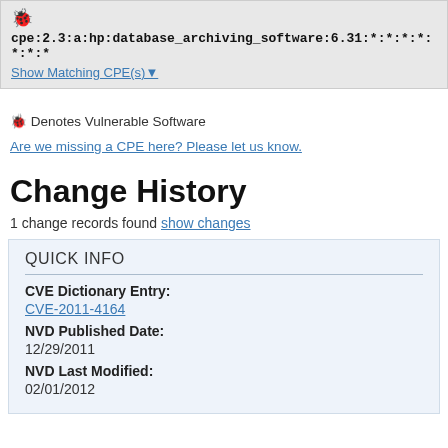cpe:2.3:a:hp:database_archiving_software:6.31:*:*:*:*:*:*:*
Show Matching CPE(s)▾
✦ Denotes Vulnerable Software
Are we missing a CPE here? Please let us know.
Change History
1 change records found show changes
QUICK INFO
CVE Dictionary Entry:
CVE-2011-4164
NVD Published Date:
12/29/2011
NVD Last Modified:
02/01/2012